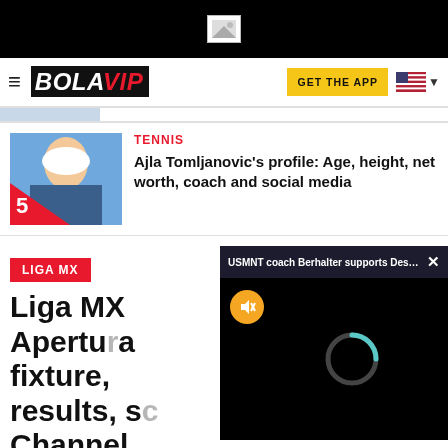[Figure (screenshot): Top black banner with small image placeholder icon]
BOLAVIP — GET THE APP
[Figure (photo): Thumbnail of Ajla Tomljanovic with number 5 overlay]
TENNIS
Ajla Tomljanovic's profile: Age, height, net worth, coach and social media
LIGA MX
Liga MX Apertura fixture, results, s... Channel
The Liga MX Apert
[Figure (screenshot): Video overlay popup: USMNT coach Berhalter supports Dest's... with close button, mute button and loading spinner on black background]